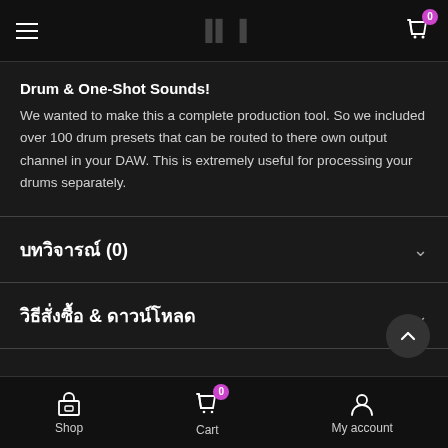Menu | Logo | Cart (0)
Drum & One-Shot Sounds!
We wanted to make this a complete production tool. So we included over 100 drum presets that can be routed to there own output channel in your DAW. This is extremely useful for processing your drums separately.
บทวิจารณ์ (0)
วิธีสั่งซื้อ & ดาวน์โหลด
Shop | Cart (0) | My account